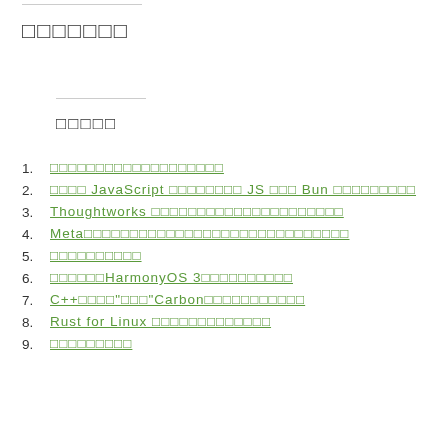□□□□□□□
□□□□□
1. □□□□□□□□□□□□□□□□□□□
2. □□□□ JavaScript □□□□□□□□ JS □□□ Bun □□□□□□□□□
3. Thoughtworks □□□□□□□□□□□□□□□□□□□□□
4. Meta□□□□□□□□□□□□□□□□□□□□□□□□□□□□□
5. □□□□□□□□□□
6. □□□□□□HarmonyOS 3□□□□□□□□□□
7. C++□□□□"□□□"Carbon□□□□□□□□□□□
8. Rust for Linux □□□□□□□□□□□□□
9. □□□□□□□□□